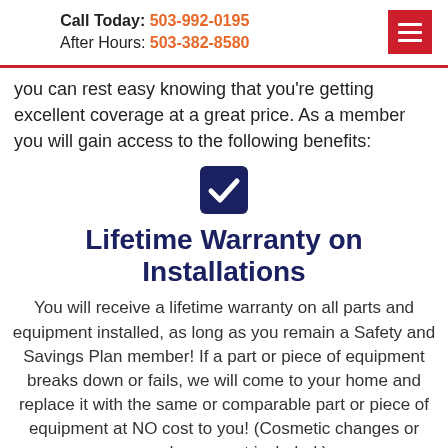Call Today: 503-992-0195 After Hours: 503-382-8580
you can rest easy knowing that you're getting excellent coverage at a great price. As a member you will gain access to the following benefits:
[Figure (illustration): Dark navy blue checkbox icon with a white checkmark inside]
Lifetime Warranty on Installations
You will receive a lifetime warranty on all parts and equipment installed, as long as you remain a Safety and Savings Plan member! If a part or piece of equipment breaks down or fails, we will come to your home and replace it with the same or comparable part or piece of equipment at NO cost to you! (Cosmetic changes or upgrades are not included.)